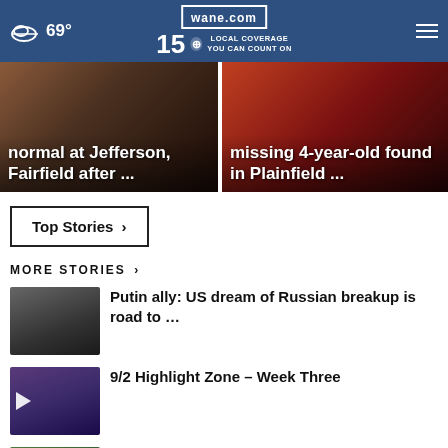69° wane.com 15 LOCAL COVERAGE YOU CAN COUNT ON
normal at Jefferson, Fairfield after ...
missing 4-year-old found in Plainfield ...
Top Stories ›
MORE STORIES ›
Putin ally: US dream of Russian breakup is road to …
9/2 Highlight Zone – Week Three
Ohio mom shares story of son's fatal overdose